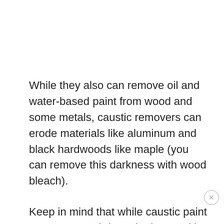While they also can remove oil and water-based paint from wood and some metals, caustic removers can erode materials like aluminum and black hardwoods like maple (you can remove this darkness with wood bleach).
Keep in mind that while caustic paint removers can irritate the lungs, skin, and eyes if inhaled or touched (making a respirator, skin-covering clothing, chemical-resistant gloves, and safety ...